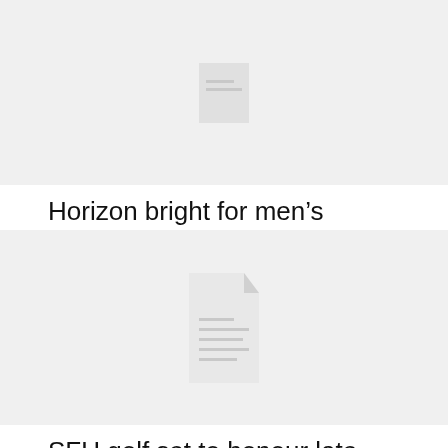[Figure (illustration): Placeholder image with a document icon on light gray background for 'Horizon bright for men's basketball' article]
Horizon bright for men’s basketball
EIC – February 6, 2012
[Figure (illustration): Placeholder image with a larger document icon on light gray background for 'SFU golf set to honour late coach John Buchanan' article]
SFU golf set to honour late coach John Buchanan